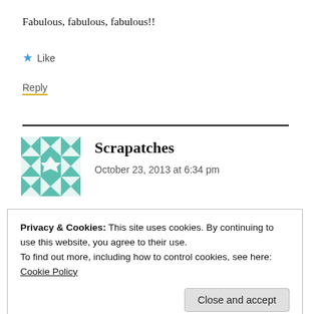Fabulous, fabulous, fabulous!!
★ Like
Reply
Scrapatches
October 23, 2013 at 6:34 pm
Privacy & Cookies: This site uses cookies. By continuing to use this website, you agree to their use.
To find out more, including how to control cookies, see here: Cookie Policy
Close and accept